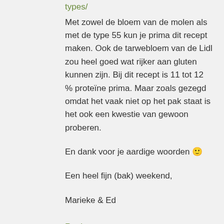types/
Met zowel de bloem van de molen als met de type 55 kun je prima dit recept maken. Ook de tarwebloem van de Lidl zou heel goed wat rijker aan gluten kunnen zijn. Bij dit recept is 11 tot 12 % proteïne prima. Maar zoals gezegd omdat het vaak niet op het pak staat is het ook een kwestie van gewoon proberen.
En dank voor je aardige woorden 🙂
Een heel fijn (bak) weekend,
Marieke & Ed
Reply